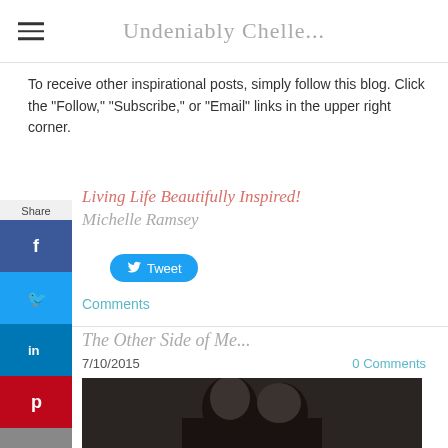Undeniably Chelle...
To receive other inspirational posts, simply follow this blog. Click the "Follow," "Subscribe," or "Email" links in the upper right corner.
[Figure (illustration): Signature text: 'Living Life Beautifully Inspired! Michelle Ramsey' in script font]
[Figure (illustration): Tweet button in blue]
Comments
The Other Side of Me...
7/10/2015   0 Comments
[Figure (photo): Black and white photo of two people close together, appearing to kiss or nuzzle]